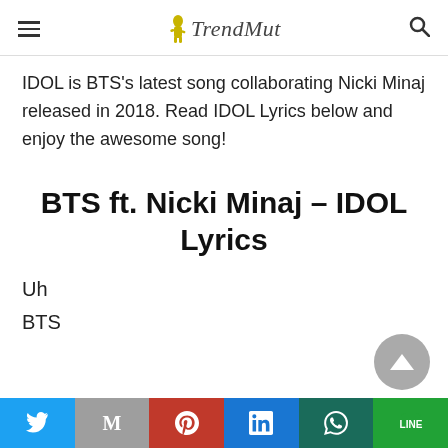TrendMut
IDOL is BTS's latest song collaborating Nicki Minaj released in 2018. Read IDOL Lyrics below and enjoy the awesome song!
BTS ft. Nicki Minaj – IDOL Lyrics
Uh
BTS